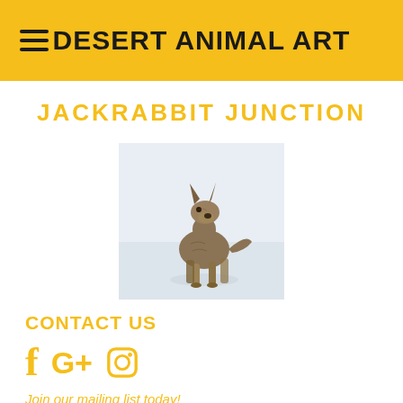DESERT ANIMAL ART
JACKRABBIT JUNCTION
[Figure (photo): A coyote standing, viewed from behind and slightly to the side, on a pale sandy/icy background. The animal has muted brown and gray fur.]
CONTACT US
f G+ [Instagram icon]
Join our mailing list today!
SUBSCRIBE!